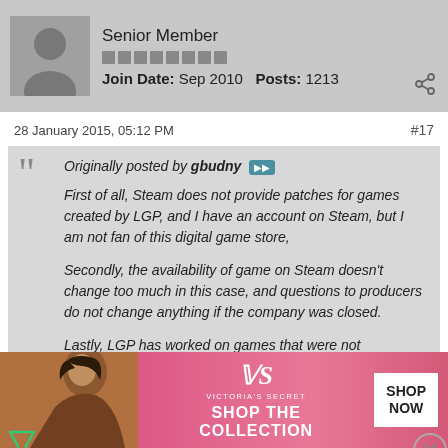Senior Member
Join Date: Sep 2010  Posts: 1213
28 January 2015, 05:12 PM
#17
Originally posted by gbudny
First of all, Steam does not provide patches for games created by LGP, and I have an account on Steam, but I am not fan of this digital game store,

Secondly, the availability of game on Steam doesn't change too much in this case, and questions to producers do not change anything if the company was closed.

Lastly, LGP has worked on games that were not
[Figure (photo): Victoria's Secret advertisement banner with woman model and 'SHOP THE COLLECTION' text]